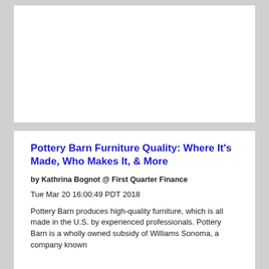[Figure (other): Blank white card/advertisement placeholder at top of page]
Pottery Barn Furniture Quality: Where It's Made, Who Makes It, & More
by Kathrina Bognot @ First Quarter Finance
Tue Mar 20 16:00:49 PDT 2018
Pottery Barn produces high-quality furniture, which is all made in the U.S. by experienced professionals. Pottery Barn is a wholly owned subsidy of Williams Sonoma, a company known